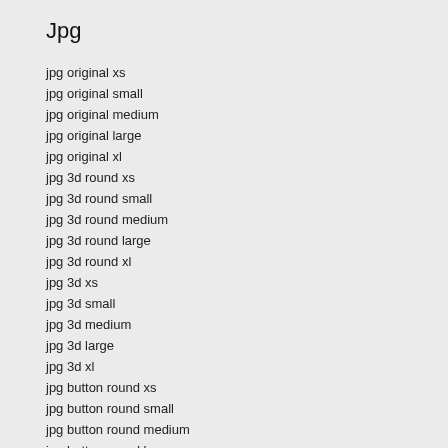Jpg
jpg original xs
jpg original small
jpg original medium
jpg original large
jpg original xl
jpg 3d round xs
jpg 3d round small
jpg 3d round medium
jpg 3d round large
jpg 3d round xl
jpg 3d xs
jpg 3d small
jpg 3d medium
jpg 3d large
jpg 3d xl
jpg button round xs
jpg button round small
jpg button round medium
jpg button round large
jpg button round xl
jpg button square xs